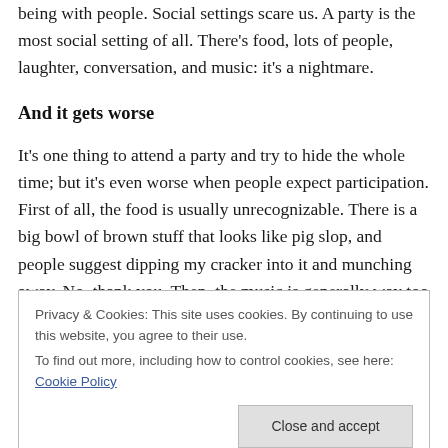being with people. Social settings scare us. A party is the most social setting of all. There's food, lots of people, laughter, conversation, and music: it's a nightmare.
And it gets worse
It's one thing to attend a party and try to hide the whole time; but it's even worse when people expect participation. First of all, the food is usually unrecognizable. There is a big bowl of brown stuff that looks like pig slop, and people suggest dipping my cracker into it and munching away. No, thank you. Then, the music is generally way too loud,
Privacy & Cookies: This site uses cookies. By continuing to use this website, you agree to their use.
To find out more, including how to control cookies, see here: Cookie Policy
somebody tries to spike my YooHoo; and when you